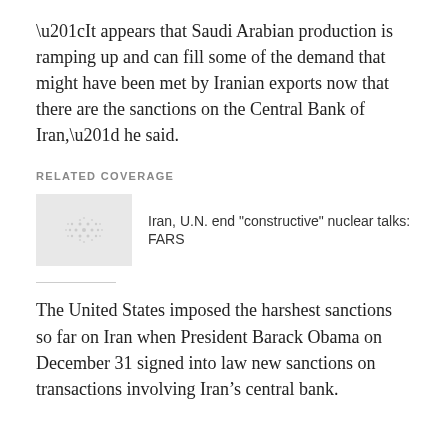“It appears that Saudi Arabian production is ramping up and can fill some of the demand that might have been met by Iranian exports now that there are the sanctions on the Central Bank of Iran,” he said.
RELATED COVERAGE
[Figure (photo): Small thumbnail image placeholder (grey box with a faint circular dotted pattern) for the related article]
Iran, U.N. end "constructive" nuclear talks: FARS
The United States imposed the harshest sanctions so far on Iran when President Barack Obama on December 31 signed into law new sanctions on transactions involving Iran’s central bank.